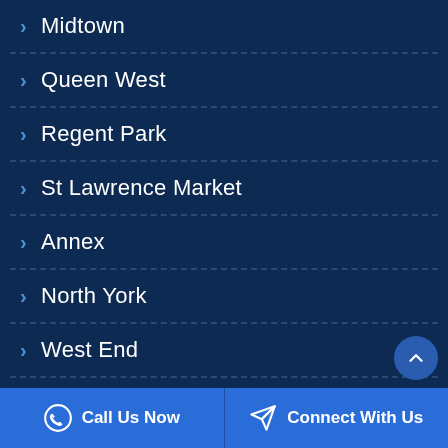› Midtown
› Queen West
› Regent Park
› St Lawrence Market
› Annex
› North York
› West End
Call Us Now   Connect With Us